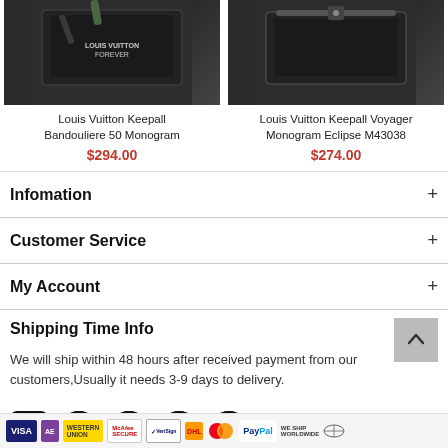[Figure (photo): Louis Vuitton Keepall Bandouliere 50 Monogram bag product photo on dark background]
Louis Vuitton Keepall Bandouliere 50 Monogram
$294.00
[Figure (photo): Louis Vuitton Keepall Voyager Monogram Eclipse M43038 bag product photo on dark background]
Louis Vuitton Keepall Voyager Monogram Eclipse M43038
$274.00
Infomation
Customer Service
My Account
Shipping Time Info
We will ship within 48 hours after received payment from our customers,Usually it needs 3-9 days to delivery.
[Figure (infographic): Social media icons: Facebook, Pinterest, Google+, Twitter, Instagram]
[Figure (infographic): Payment method badges: Visa, American Express, Western Union, McAfee Secure, VeriSign, DHL, Mastercard, PayPal, We Ship Worldwide]